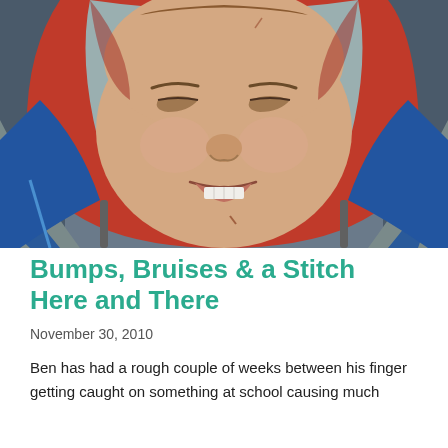[Figure (photo): Close-up photo of a young boy wearing a red hoodie and blue jacket, looking at the camera with a slight expression, outdoors in natural light.]
Bumps, Bruises & a Stitch Here and There
November 30, 2010
Ben has had a rough couple of weeks between his finger getting caught on something at school causing much